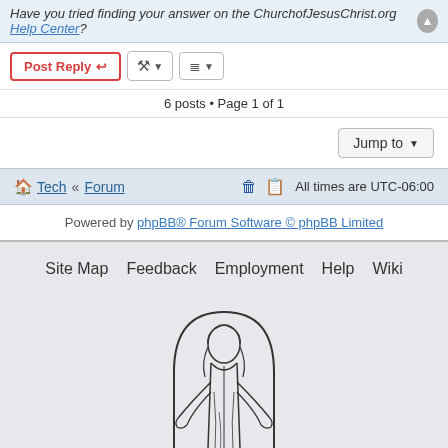Have you tried finding your answer on the ChurchofJesusChrist.org Help Center?
Post Reply | tools | sort | 6 posts • Page 1 of 1
Jump to
Tech « Forum   All times are UTC-06:00
Powered by phpBB® Forum Software © phpBB Limited
Site Map   Feedback   Employment   Help   Wiki
[Figure (illustration): Line drawing of Jesus Christ standing with arms outstretched, inside an arched frame]